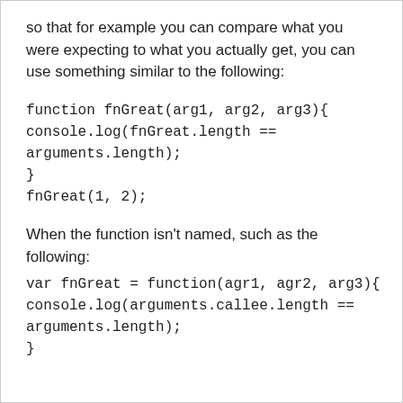so that for example you can compare what you were expecting to what you actually get, you can use something similar to the following:
When the function isn't named, such as the following: